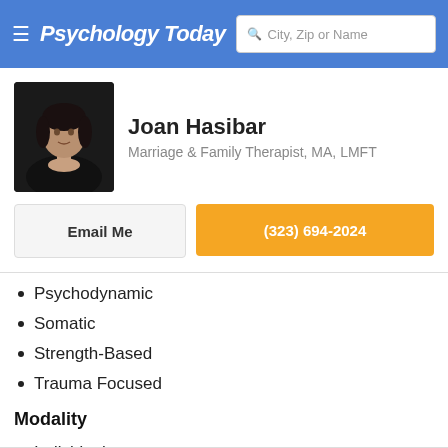Psychology Today — City, Zip or Name
Joan Hasibar
Marriage & Family Therapist, MA, LMFT
Email Me
(323) 694-2024
Psychodynamic
Somatic
Strength-Based
Trauma Focused
Modality
Individuals
Couples
Family